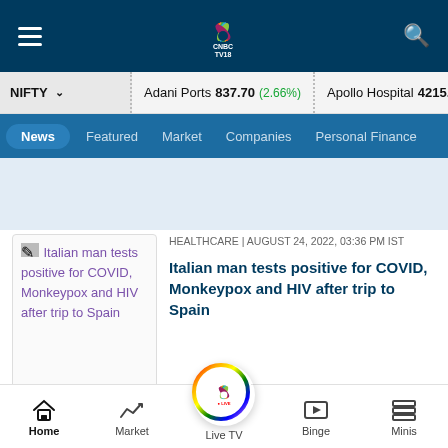CNBC TV18 - Navigation bar with hamburger menu, CNBC TV18 logo, search icon
NIFTY ▾  Adani Ports 837.70 (2.66%)  Apollo Hospital 4215.25 (1.1%)
News  Featured  Market  Companies  Personal Finance
[Figure (screenshot): Broken image placeholder for article thumbnail]
Italian man tests positive for COVID, Monkeypox and HIV after trip to Spain
HEALTHCARE | AUGUST 24, 2022, 03:36 PM IST
Italian man tests positive for COVID, Monkeypox and HIV after trip to Spain
Home  Market  Live TV  Binge  Minis